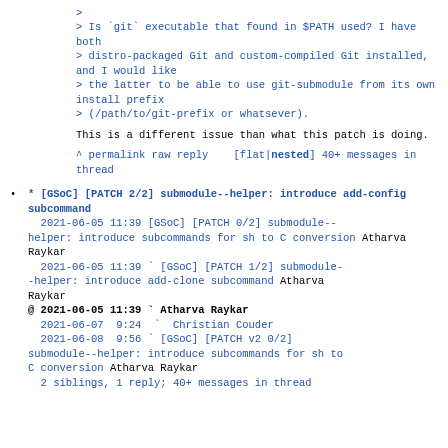>
> Is `git` executable that found in $PATH used? I have both
> distro-packaged Git and custom-compiled Git installed, and I would like
> the latter to be able to use git-submodule from its own install prefix
> (/path/to/git-prefix or whatsever).
This is a different issue than what this patch is doing.
^ permalink raw reply   [flat|nested]
40+ messages in thread
* [GSoC] [PATCH 2/2] submodule--helper: introduce add-config subcommand
  2021-06-05 11:39 [GSoC] [PATCH 0/2] submodule--helper: introduce subcommands for sh to C conversion Atharva Raykar
  2021-06-05 11:39 ` [GSoC] [PATCH 1/2] submodule--helper: introduce add-clone subcommand Atharva Raykar
@ 2021-06-05 11:39 ` Atharva Raykar
  2021-06-07  9:24 ` Christian Couder
  2021-06-08  9:56 ` [GSoC] [PATCH v2 0/2] submodule--helper: introduce subcommands for sh to C conversion Atharva Raykar
  2 siblings, 1 reply; 40+ messages in thread